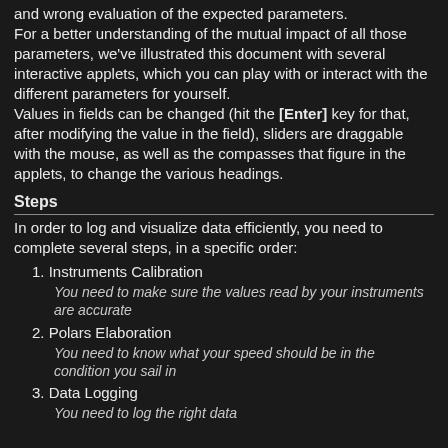and wrong evaluation of the expected parameters. For a better understanding of the mutual impact of all those parameters, we've illustrated this document with several interactive applets, which you can play with or interact with the different parameters for yourself. Values in fields can be changed (hit the [Enter] key for that, after modifying the value in the field), sliders are draggable with the mouse, as well as the compasses that figure in the applets, to change the various headings.
Steps
In order to log and visualize data efficiently, you need to complete several steps, in a specific order:
1. Instruments Calibration
You need to make sure the values read by your instruments are accurate
2. Polars Elaboration
You need to know what your speed should be in the condition you sail in
3. Data Logging
You need to log the right data